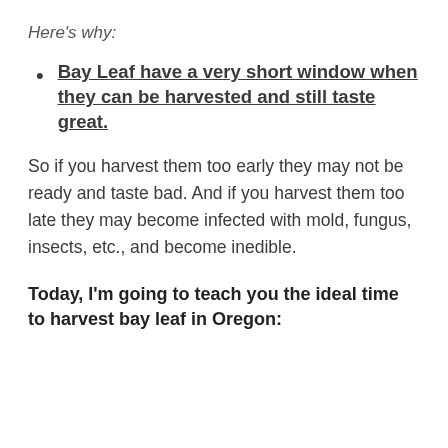Here's why:
Bay Leaf have a very short window when they can be harvested and still taste great.
So if you harvest them too early they may not be ready and taste bad. And if you harvest them too late they may become infected with mold, fungus, insects, etc., and become inedible.
Today, I'm going to teach you the ideal time to harvest bay leaf in Oregon: